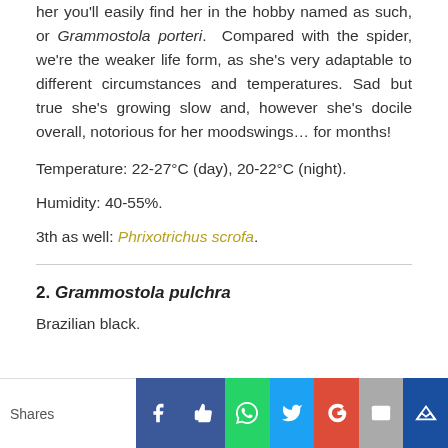her you'll easily find her in the hobby named as such, or Grammostola porteri. Compared with the spider, we're the weaker life form, as she's very adaptable to different circumstances and temperatures. Sad but true she's growing slow and, however she's docile overall, notorious for her moodswings… for months!
Temperature: 22-27°C (day), 20-22°C (night).
Humidity: 40-55%.
3th as well: Phrixotrichus scrofa.
2. Grammostola pulchra
Brazilian black.
Shares | Facebook | Like | WhatsApp | Twitter | Google+ | Mail | Crown